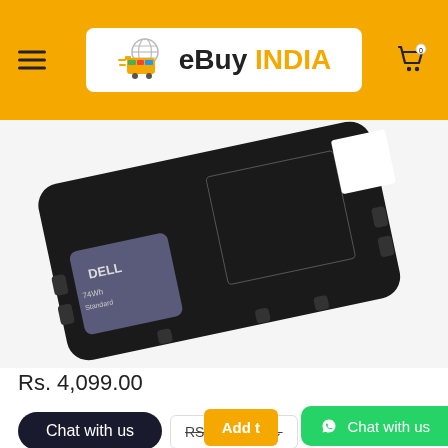eBuy INDIA
[Figure (photo): Dell laptop battery, black rectangular battery with Dell logo and certification labels, 74Wh Standard type]
Rs. 4,099.00
Chat with us
RS. 7,875.00
Add t
Chat with us